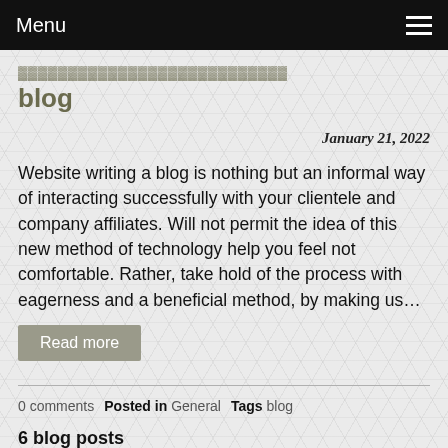Menu
blog
January 21, 2022
Website writing a blog is nothing but an informal way of interacting successfully with your clientele and company affiliates. Will not permit the idea of this new method of technology help you feel not comfortable. Rather, take hold of the process with eagerness and a beneficial method, by making us…
Read more
0 comments   Posted in General   Tags blog
6 blog posts